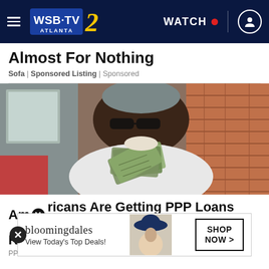WSB-TV 2 Atlanta — WATCH
Almost For Nothing
Sofa | Sponsored Listing | Sponsored
[Figure (photo): Elderly woman smiling and holding a large fan of US dollar bills, wearing glasses and a white outfit, seated outdoors near a brick wall]
Americans Are Getting PPP Loans Approved Regardless...
PPP Loans
[Figure (advertisement): Bloomingdale's ad banner: 'View Today's Top Deals!' with woman in hat and SHOP NOW button]